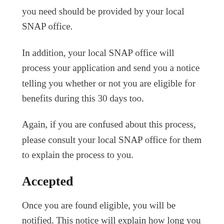you need should be provided by your local SNAP office.
In addition, your local SNAP office will process your application and send you a notice telling you whether or not you are eligible for benefits during this 30 days too.
Again, if you are confused about this process, please consult your local SNAP office for them to explain the process to you.
Accepted
Once you are found eligible, you will be notified. This notice will explain how long you will